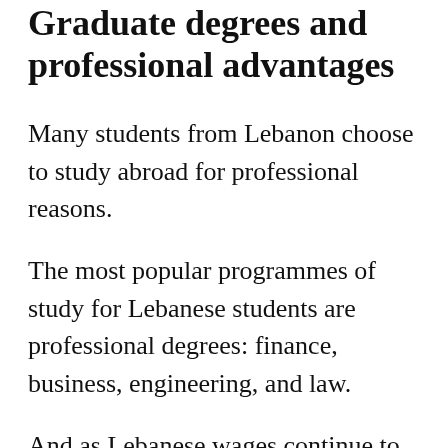Graduate degrees and professional advantages
Many students from Lebanon choose to study abroad for professional reasons.
The most popular programmes of study for Lebanese students are professional degrees: finance, business, engineering, and law.
And as Lebanese wages continue to lag behind average salaries in more developed economies, study